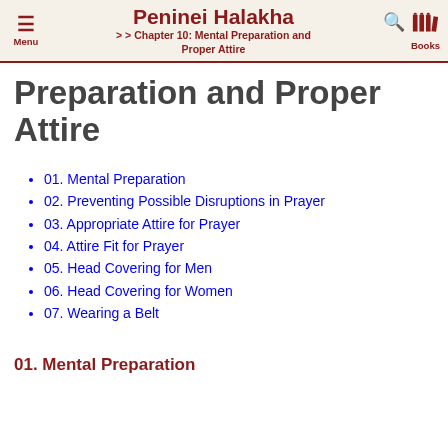Peninei Halakha >> Chapter 10: Mental Preparation and Proper Attire
Preparation and Proper Attire
01. Mental Preparation
02. Preventing Possible Disruptions in Prayer
03. Appropriate Attire for Prayer
04. Attire Fit for Prayer
05. Head Covering for Men
06. Head Covering for Women
07. Wearing a Belt
01. Mental Preparation